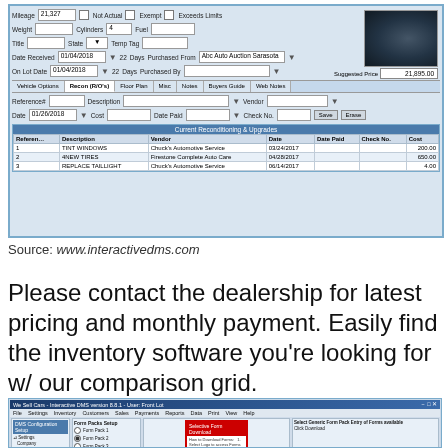[Figure (screenshot): Screenshot of a vehicle inventory management software UI showing fields for Mileage (21,327), Weight, Cylinders (4), Fuel, Title, State, Temp Tag, Date Received (01/04/2018), On Lot Date (01/04/2018), Purchased From (Abc Auto Auction Sarasota), Suggested Price (21,895.00), tabs for Vehicle Options / Recon (R/O's) / Floor Plan / Misc / Notes / Buyers Guide / Web Notes, a Recon entry form with Reference#, Description, Vendor, Date (01/26/2018), Cost, Date Paid, Check No., Save and Erase buttons, and a Current Reconditioning & Upgrades table with 3 rows: 1 TINT WINDOWS Chuck's Automotive Service 03/24/2017 200.00; 2 4NEW TIRES Firestone Complete Auto Care 04/28/2017 650.00; 3 REPLACE TAILLIGHT Chuck's Automotive Service 06/14/2017 4.00]
Source: www.interactivedms.com
Please contact the dealership for latest pricing and monthly payment. Easily find the inventory software you're looking for w/ our comparison grid.
[Figure (screenshot): Screenshot of a software configuration/download dialog box with settings panel on left and a Form Pack Download dialog on right with radio button options for Form Pack 1, Form Pack 2, Form Pack 3 and a warning message in red, with buttons for Back and other controls.]